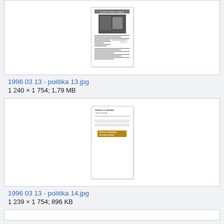[Figure (screenshot): Thumbnail image of a newspaper page '1996 03 13 - politika 13.jpg' showing a scanned newspaper article with a black and white photo and text columns]
1996 03 13 - politika 13.jpg
1 240 × 1 754; 1,79 MB
[Figure (screenshot): Thumbnail image of a document page '1996 03 13 - politika 14.jpg' showing a press clipping form with a bold stamped heading in the middle]
1996 03 13 - politika 14.jpg
1 239 × 1 754; 896 KB